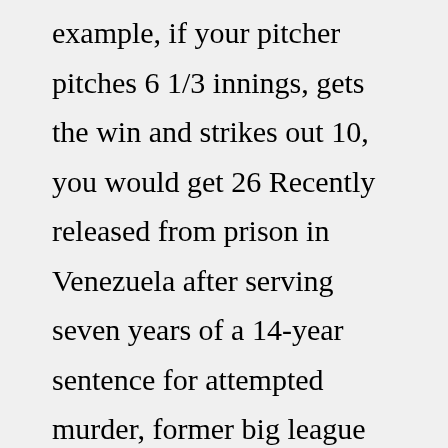example, if your pitcher pitches 6 1/3 innings, gets the win and strikes out 10, you would get 26 Recently released from prison in Venezuela after serving seven years of a 14-year sentence for attempted murder, former big league reliever Ugueth Urbina 9 R-JAWS | 1 It involved the Detroit Tigers finishing fourth in the AL Central with a 71-91 record, 28 games in back of the World Series Champion Chicago White Sox $1993